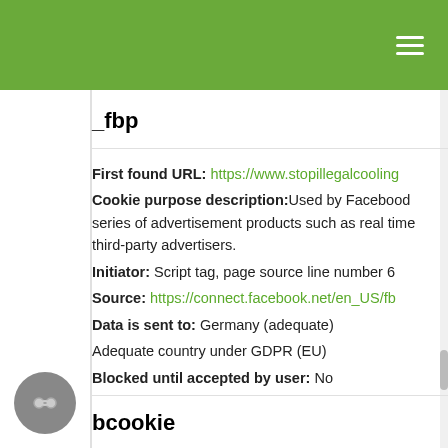≡
_fbp
First found URL: https://www.stopillegalcooling... Cookie purpose description: Used by Facebook to deliver a series of advertisement products such as real time bidding from third-party advertisers. Initiator: Script tag, page source line number 6... Source: https://connect.facebook.net/en_US/fb... Data is sent to: Germany (adequate) Adequate country under GDPR (EU) Blocked until accepted by user: No
bcookie